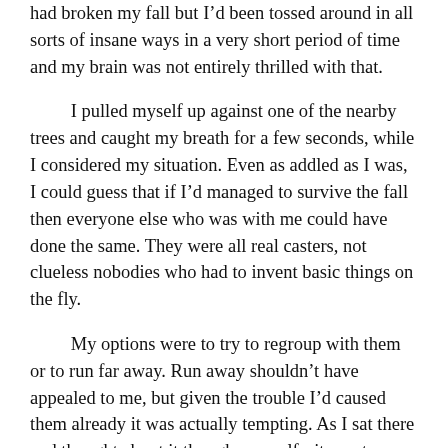had broken my fall but I'd been tossed around in all sorts of insane ways in a very short period of time and my brain was not entirely thrilled with that.
I pulled myself up against one of the nearby trees and caught my breath for a few seconds, while I considered my situation. Even as addled as I was, I could guess that if I'd managed to survive the fall then everyone else who was with me could have done the same. They were all real casters, not clueless nobodies who had to invent basic things on the fly.
My options were to try to regroup with them or to run far away. Run away shouldn't have appealed to me, but given the trouble I'd caused them already it was actually tempting. As I sat there and thought about it though, my self-pity party started to feel a bit hollow. I'd made mistakes, but I'd done some good too. I'd bought Yael time by stopping Zyla from killing her and I'd managed to hide the ship well enough that it had taken one of the Khan's best casters to find us. I knew I